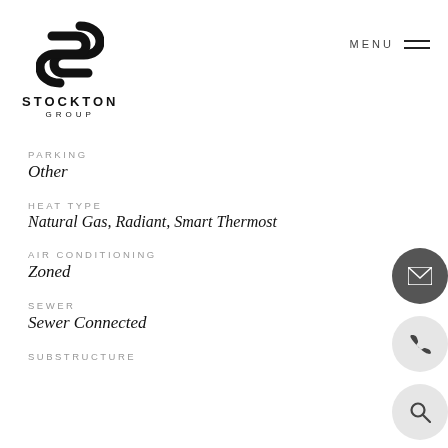[Figure (logo): Stockton Group logo — stylized S mark above STOCKTON GROUP text]
MENU
PARKING
Other
HEAT TYPE
Natural Gas, Radiant, Smart Thermost...
AIR CONDITIONING
Zoned
SEWER
Sewer Connected
SUBSTRUCTURE